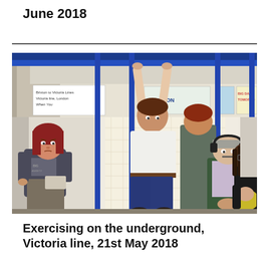June 2018
[Figure (illustration): Illustration of a man doing pull-ups on the handrail in a London Underground Victoria line train carriage at Brixton station. Other passengers sit or stand around him — a woman reading on the left, an older man with headphones and a woman with a baby on the right. The tube map and advertisements are visible above the windows.]
Exercising on the underground, Victoria line, 21st May 2018